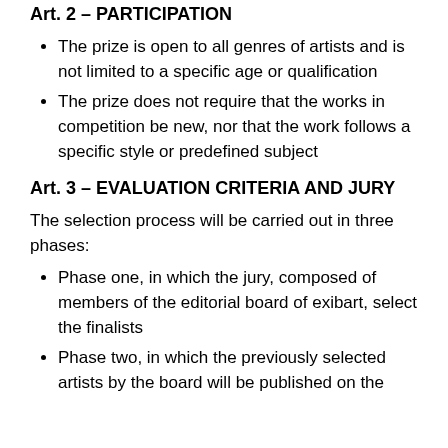Art. 2 – PARTICIPATION
The prize is open to all genres of artists and is not limited to a specific age or qualification
The prize does not require that the works in competition be new, nor that the work follows a specific style or predefined subject
Art. 3 – EVALUATION CRITERIA AND JURY
The selection process will be carried out in three phases:
Phase one, in which the jury, composed of members of the editorial board of exibart, select the finalists
Phase two, in which the previously selected artists by the board will be published on the